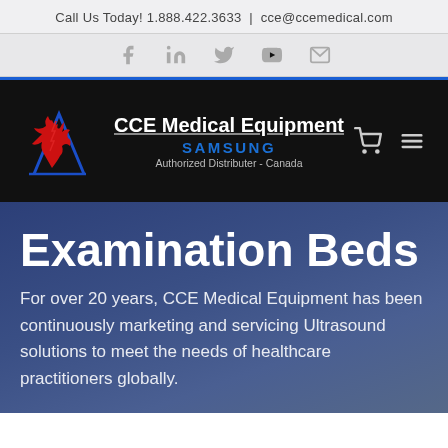Call Us Today! 1.888.422.3633 | cce@ccemedical.com
[Figure (other): Social media icons: Facebook, LinkedIn, Twitter, YouTube, Email]
[Figure (logo): CCE Medical Equipment logo with Samsung Authorized Distributer - Canada text on black background]
Examination Beds
For over 20 years, CCE Medical Equipment has been continuously marketing and servicing Ultrasound solutions to meet the needs of healthcare practitioners globally.